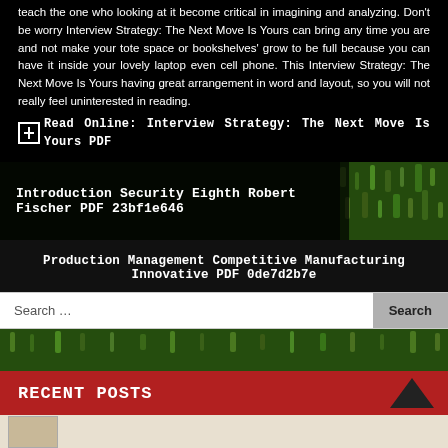teach the one who looking at it become critical in imagining and analyzing. Don't be worry Interview Strategy: The Next Move Is Yours can bring any time you are and not make your tote space or bookshelves' grow to be full because you can have it inside your lovely laptop even cell phone. This Interview Strategy: The Next Move Is Yours having great arrangement in word and layout, so you will not really feel uninterested in reading.
Read Online: Interview Strategy: The Next Move Is Yours PDF
Introduction Security Eighth Robert Fischer PDF 23bf1e646
Production Management Competitive Manufacturing Innovative PDF 0de7d2b7e
Search …
RECENT POSTS